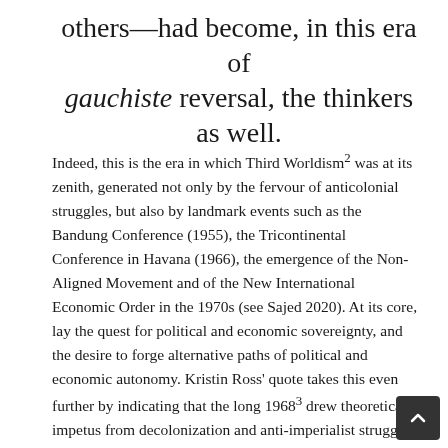others—had become, in this era of gauchiste reversal, the thinkers as well.
Indeed, this is the era in which Third Worldism² was at its zenith, generated not only by the fervour of anticolonial struggles, but also by landmark events such as the Bandung Conference (1955), the Tricontinental Conference in Havana (1966), the emergence of the Non-Aligned Movement and of the New International Economic Order in the 1970s (see Sajed 2020). At its core, lay the quest for political and economic sovereignty, and the desire to forge alternative paths of political and economic autonomy. Kristin Ross' quote takes this even further by indicating that the long 1968³ drew theoretical impetus from decolonization and anti-imperialist struggles. Varieties of Marxist doctrines and interpretations (especially Marxist-Leninism) were foundational in many ways to decolonization. And while decolonization and Third Worldism are not exclusively leftist phenomena,⁴ one cannot undertake an intellect